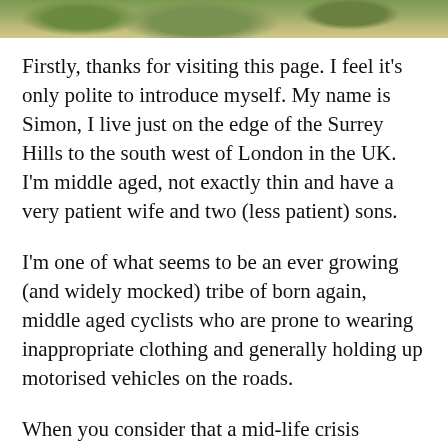[Figure (photo): Top strip of a photograph showing a gravel path or ground with green foliage/grass at the edges.]
Firstly, thanks for visiting this page. I feel it’s only polite to introduce myself. My name is Simon, I live just on the edge of the Surrey Hills to the south west of London in the UK. I’m middle aged, not exactly thin and have a very patient wife and two (less patient) sons.
I’m one of what seems to be an ever growing (and widely mocked) tribe of born again, middle aged cyclists who are prone to wearing inappropriate clothing and generally holding up motorised vehicles on the roads.
When you consider that a mid-life crisis apparently used to involve getting an